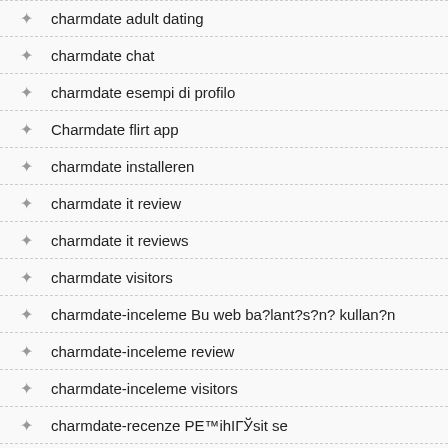charmdate adult dating
charmdate chat
charmdate esempi di profilo
Charmdate flirt app
charmdate installeren
charmdate it review
charmdate it reviews
charmdate visitors
charmdate-inceleme Bu web ba?lant?s?n? kullan?n
charmdate-inceleme review
charmdate-inceleme visitors
charmdate-recenze PE™ihIГЎsit se